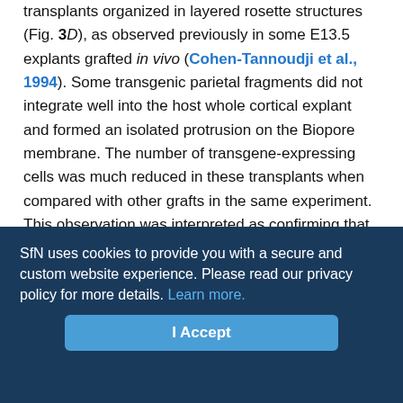transplants organized in layered rosette structures (Fig. 3D), as observed previously in some E13.5 explants grafted in vivo (Cohen-Tannoudji et al., 1994). Some transgenic parietal fragments did not integrate well into the host whole cortical explant and formed an isolated protrusion on the Biopore membrane. The number of transgene-expressing cells was much reduced in these transplants when compared with other grafts in the same experiment. This observation was interpreted as confirming that transplants younger than E13.5 require a trophic support from the host for survival.
There was a marked difference in the case of E10.5 transplants: even large transplants never developed β-galactosidase expression (n = 39). Rosa-26 E10.5 transplants maintained in the same culture conditions did not grow. To obtain a better survival, H 271 E10.5
SfN uses cookies to provide you with a secure and custom website experience. Please read our privacy policy for more details. Learn more.